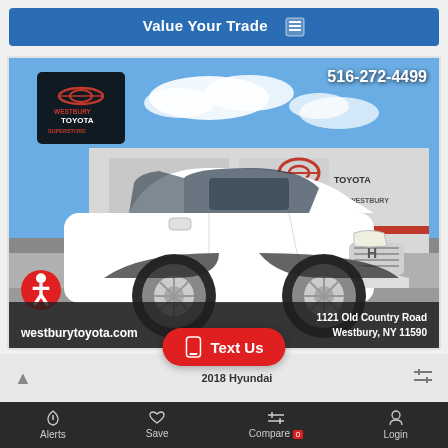[Figure (screenshot): Blue 'Value Your Trade' button with calculator icon at top of dealership webpage]
[Figure (photo): White Hyundai Tucson SUV parked in front of Westbury Toyota dealership. Phone number 516-272-4499 overlaid top right. Westbury Toyota logo top left. Accessibility icon bottom left. Website URL westburytoyota.com and address 1121 Old Country Road, Westbury, NY 11590 overlaid at bottom.]
[Figure (screenshot): Bottom navigation bar with Text Us red pill button, and nav items: Alerts, Save, Compare (badge 0), Login. Bottom strip shows 2018 Hyundai text and icons.]